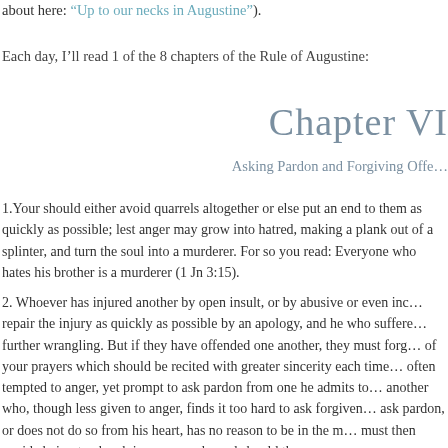about here: “Up to our necks in Augustine”).
Each day, I’ll read 1 of the 8 chapters of the Rule of Augustine:
Chapter VI
Asking Pardon and Forgiving Offe…
1.Your should either avoid quarrels altogether or else put an end to them as quickly as possible; lest anger may grow into hatred, making a plank out of a splinter, and turn the soul into a murderer. For so you read: Everyone who hates his brother is a murderer (1 Jn 3:15).
2. Whoever has injured another by open insult, or by abusive or even incensed language, must remember to repair the injury as quickly as possible by an apology, and he who suffered the injury must also forgive without further wrangling. But if they have offended one another, they must forgive one another’s trespasses for the sake of your prayers which should be recited with greater sincerity each time you pray them. Although he may be often tempted to anger, yet prompt to ask pardon from one he admits to have offended, is better than one who is another who, though less given to anger, finds it too hard to ask forgiveness. But one who never wants to ask pardon, or does not do so from his heart, has no reason to be in the monastery even if he is not expelled. You must then avoide being too harsh in your words, and should they escape